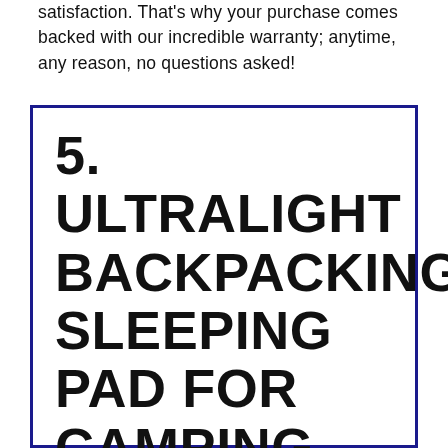satisfaction. That's why your purchase comes backed with our incredible warranty; anytime, any reason, no questions asked!
5. ULTRALIGHT BACKPACKING SLEEPING PAD FOR CAMPING, MATTRESS PAD, BACKPACKING GEAR, INFLATABLE